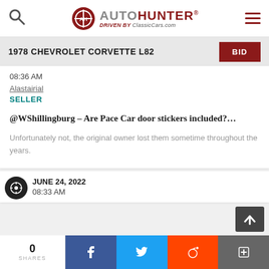AutoHunter — Driven by ClassicCars.com
1978 CHEVROLET CORVETTE L82
08:36 AM
Alastairial
SELLER
@WShillingburg – Are Pace Car door stickers included?…
Unfortunately not, the original owner lost them sometime throughout the years.
JUNE 24, 2022
08:33 AM